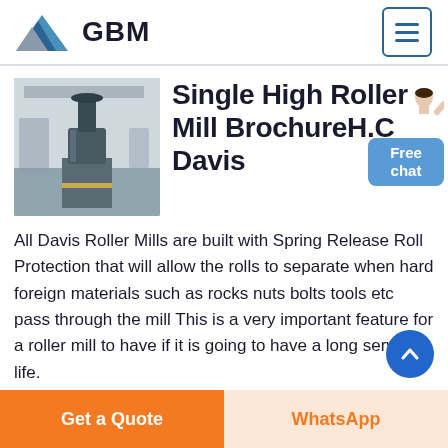GBM
Single High Roller Mill BrochureH.C Davis
[Figure (photo): Industrial roller mill machine in a factory/warehouse setting, mounted on a pedestal with heavy machinery visible in background.]
[Figure (illustration): Small illustration of a customer service representative (person) next to a chat bubble.]
All Davis Roller Mills are built with Spring Release Roll Protection that will allow the rolls to separate when hard foreign materials such as rocks nuts bolts tools etc pass through the mill This is a very important feature for a roller mill to have if it is going to have a long service life.
Get a Quote
WhatsApp